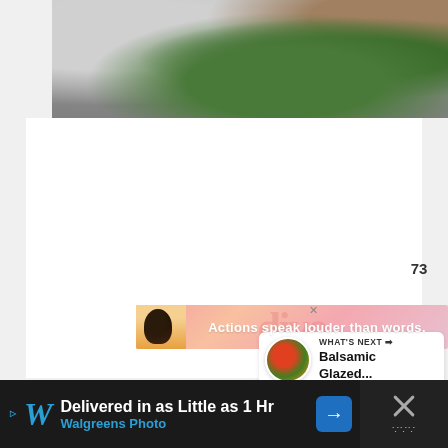[Figure (photo): Close-up food photo showing green basil leaves and what appears to be a breaded food item on a light gray surface]
[Figure (infographic): Advertisement banner with pink/coral gradient background showing a person in yellow clothing with text 'Actions speak louder than words.' and an X close button]
[Figure (infographic): Heart/like button (teal circle with white heart icon) showing 73 likes, and a share button below it]
73
[Figure (infographic): WHAT'S NEXT panel showing a circular food thumbnail and text 'Balsamic Glazed...']
WHAT'S NEXT →
Balsamic Glazed...
[Figure (infographic): Bottom advertisement bar for Walgreens Photo: 'Delivered in as Little as 1 Hr, Walgreens Photo' with navigation arrow icon and close X button]